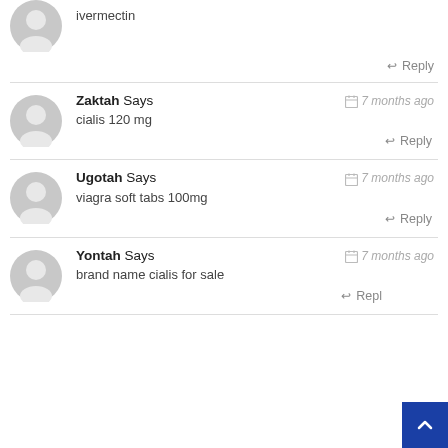ivermectin
↩ Reply
Zaktah Says   📅 7 months ago
cialis 120 mg
↩ Reply
Ugotah Says   📅 7 months ago
viagra soft tabs 100mg
↩ Reply
Yontah Says   📅 7 months ago
brand name cialis for sale
↩ Repl…